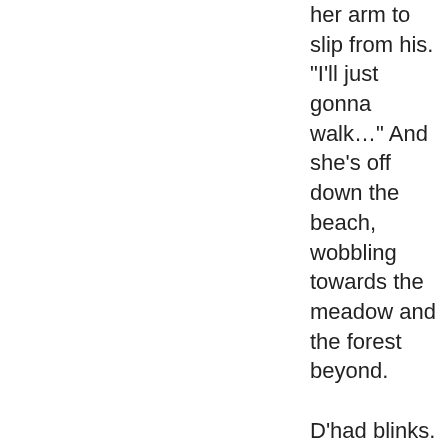her arm to slip from his. "I'll just gonna walk..." And she's off down the beach, wobbling towards the meadow and the forest beyond.

D'had blinks. Okay then... he's more than a bit confused. "Be careful?" he notes, but that doesn't even see quite the right thing to say. "Ya